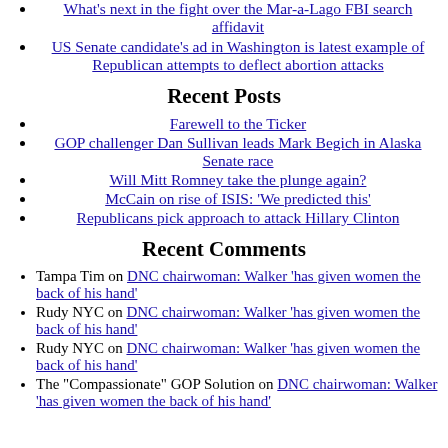What's next in the fight over the Mar-a-Lago FBI search affidavit
US Senate candidate's ad in Washington is latest example of Republican attempts to deflect abortion attacks
Recent Posts
Farewell to the Ticker
GOP challenger Dan Sullivan leads Mark Begich in Alaska Senate race
Will Mitt Romney take the plunge again?
McCain on rise of ISIS: 'We predicted this'
Republicans pick approach to attack Hillary Clinton
Recent Comments
Tampa Tim on DNC chairwoman: Walker 'has given women the back of his hand'
Rudy NYC on DNC chairwoman: Walker 'has given women the back of his hand'
Rudy NYC on DNC chairwoman: Walker 'has given women the back of his hand'
The "Compassionate" GOP Solution on DNC chairwoman: Walker 'has given women the back of his hand'